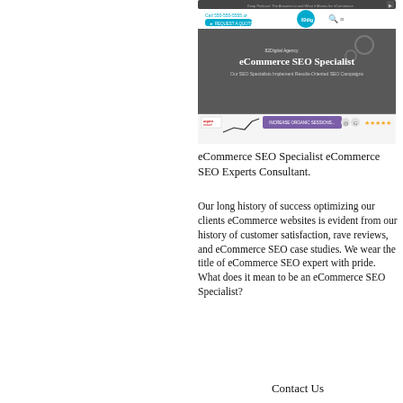[Figure (screenshot): Screenshot of an eCommerce SEO Specialist website showing a navigation bar with phone number and 'Request a Quote' button, a hero image with text 'eCommerce SEO Specialist' and subtitle 'Our SEO Specialists Implement Results-Oriented SEO Campaigns', and a lower bar with a chart line, purple 'INCREASE ORGANIC SESSIONS' button, and 5-star rating.]
eCommerce SEO Specialist eCommerce SEO Experts Consultant.
Our long history of success optimizing our clients eCommerce websites is evident from our history of customer satisfaction, rave reviews, and eCommerce SEO case studies. We wear the title of eCommerce SEO expert with pride. What does it mean to be an eCommerce SEO Specialist?
Contact Us